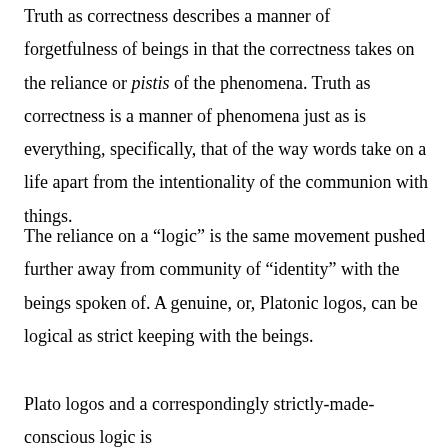Truth as correctness describes a manner of forgetfulness of beings in that the correctness takes on the reliance or pistis of the phenomena. Truth as correctness is a manner of phenomena just as is everything, specifically, that of the way words take on a life apart from the intentionality of the communion with things.
The reliance on a “logic” is the same movement pushed further away from community of “identity” with the beings spoken of. A genuine, or, Platonic logos, can be logical as strict keeping with the beings.
Plato logos and a correspondingly strictly-made-conscious logic is a representation of propositions with intentionality. The...